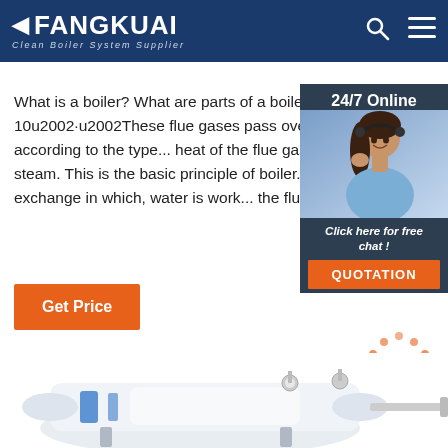FANGKUAI - Clean Boiler System Supplier
What is a boiler? What are parts of a boiler? - m... 2018-6-10u2002·u2002These flue gases pass ove... containing in shell or tube according to the type... heat of the flue gases transfer to the water and steam. This is the basic principle of boiler. Work... simply a heat exchange in which, water is work... the flue gases works as hot fluid.
[Figure (photo): Customer service representative with headset, 24/7 Online chat widget with QUOTATION button]
[Figure (infographic): TOP button with orange dots above it]
[Figure (photo): Partial view of industrial boiler equipment at bottom of page]